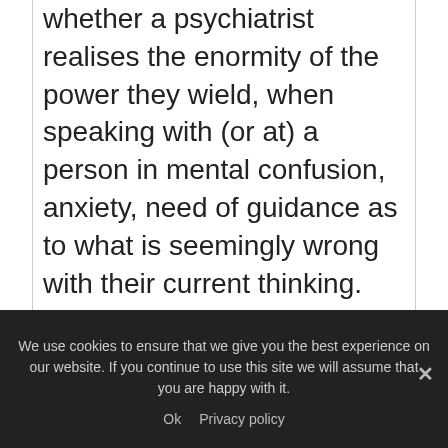whether a psychiatrist realises the enormity of the power they wield, when speaking with (or at) a person in mental confusion, anxiety, need of guidance as to what is seemingly wrong with their current thinking.
It sickens me to think of the one sided balance of power between clinician and patient. I fully accept that medications
We use cookies to ensure that we give you the best experience on our website. If you continue to use this site we will assume that you are happy with it.
Ok   Privacy policy